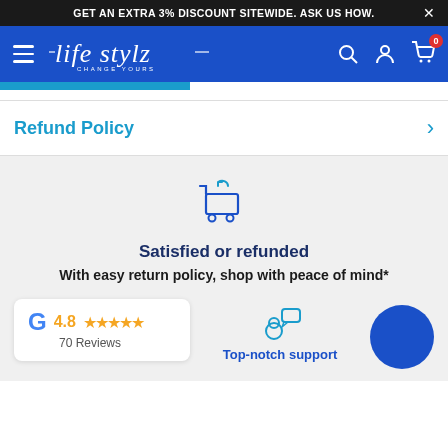GET AN EXTRA 3% DISCOUNT SITEWIDE. ASK US HOW.  ✕
[Figure (logo): Life Stylz – Change Yours logo in white cursive on blue navigation bar with hamburger menu, search, account, and cart icons]
Refund Policy
[Figure (illustration): Return shopping cart icon (cart with return arrow)]
Satisfied or refunded
With easy return policy, shop with peace of mind*
[Figure (infographic): Google rating card showing 4.8 stars and 70 Reviews]
[Figure (illustration): Person with chat bubble icon representing support]
Top-notch support